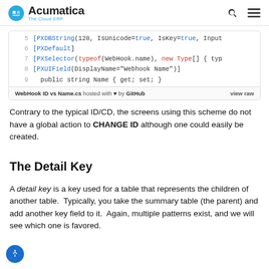Acumatica – The Cloud ERP
[Figure (screenshot): Code snippet showing lines 5-9 of WebHook ID vs Name.cs file hosted on GitHub. Line 5: [PXDBString(128, IsUnicode=true, IsKey=true, Input. Line 6: [PXDefault]. Line 7: [PXSelector(typeof(WebHook.name), new Type[] { typ. Line 8: [PXUIField(DisplayName="Webhook Name")]. Line 9: public string Name { get; set; }. Footer bar reads: WebHook ID vs Name.cs hosted with heart by GitHub | view raw]
Contrary to the typical ID/CD, the screens using this scheme do not have a global action to CHANGE ID although one could easily be created.
The Detail Key
A detail key is a key used for a table that represents the children of another table.  Typically, you take the summary table (the parent) and add another key field to it.  Again, multiple patterns exist, and we will see which one is favored.